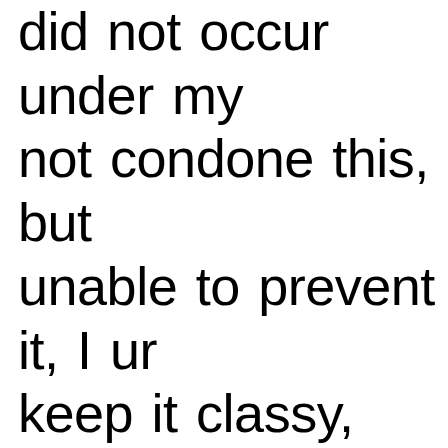did not occur under my watch, I do not condone this, but since I was unable to prevent it, I urged her to keep it classy, and creative and not sacrifice her integrity." Back in 2021, Sami alleged she had moved back in with her dad over a year ago and accused